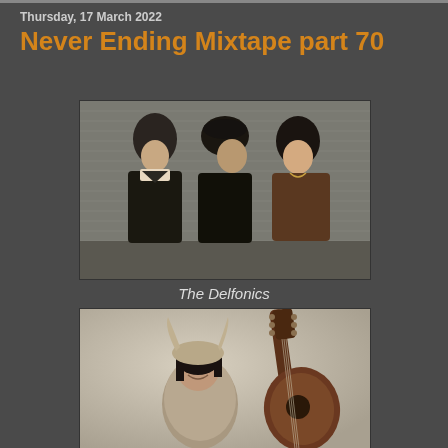Thursday, 17 March 2022
Never Ending Mixtape part 70
[Figure (photo): Black and white photo of three men standing together – The Delfonics]
The Delfonics
[Figure (photo): Black and white photo of a woman wearing a horned hat and holding a guitar, smiling]